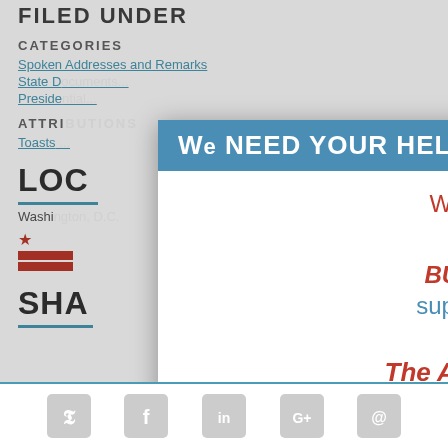FILED UNDER
CATEGORIES
Spoken Addresses and Remarks
State D[epartment and Diplomatic...]
Preside[ntial...]
ATTRI[BUTIONS]
Toasts [...]
LOC[ATION]
Washi[ngton, D.C.]
SHA[RE]
[Figure (infographic): Modal popup with blue header 'WE NEED YOUR HELP!' and red/blue text body: 'We're sorry to disrupt your visit! BUT: We need *your* support in order to keep providing The American Presidency Project for free. Please make a tax-deductible gift! Every gift']
Social share icons: Twitter, Facebook, LinkedIn, Google+, Email